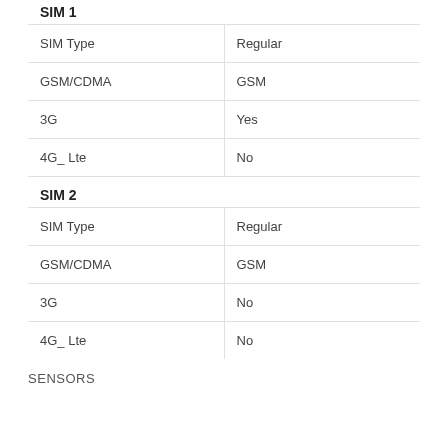|  |  |
| --- | --- |
| SIM 1 (header) |  |
| SIM Type | Regular |
| GSM/CDMA | GSM |
| 3G | Yes |
| 4G_ Lte | No |
| SIM 2 (header) |  |
| SIM Type | Regular |
| GSM/CDMA | GSM |
| 3G | No |
| 4G_ Lte | No |
SENSORS